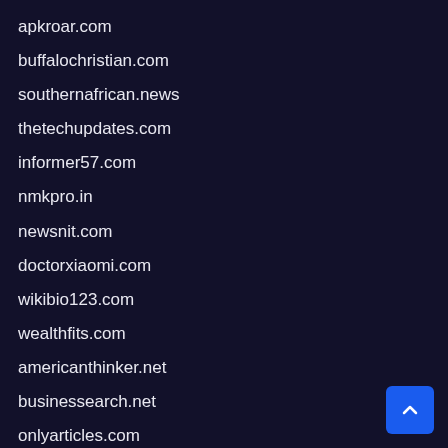apkroar.com
buffalochristian.com
southernafrican.news
thetechupdates.com
informer57.com
nmkpro.in
newsnit.com
doctorxiaomi.com
wikibio123.com
wealthfits.com
americanthinker.net
businessearch.net
onlyarticles.com
namebiography.com
eoceanofgames.com